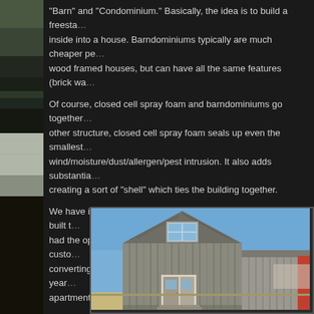"Barn" and "Condominium." Basically, the idea is to build a freesta... inside into a house. Barndominiums typically are much cheaper pe... wood framed houses, but can have all the same features (brick wa...
Of course, closed cell spray foam and barndominiums go together... other structure, closed cell spray foam seals up even the smallest... wind/moisture/dust/allergen/pest intrusion. It also adds substantia... creating a sort of "shell" which ties the building together.
We have insulated countless metal buildings, many of them built t... had the opportunity to work on a very interesting project. Our custo... converting an actual barn, estimated to be between 75 – 100 year... apartment.
[Figure (photo): Old weathered barn building with wooden siding, a gable roof with a window, and a white door entrance. Blue sky in the background. Another structure visible to the right.]